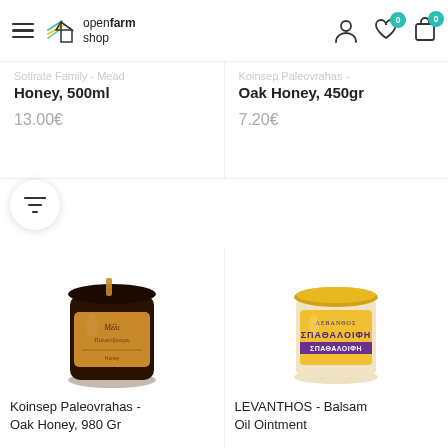openfarm shop — navigation header with hamburger menu, logo, user icon, wishlist (0), cart (0)
Sotirate Family - Mead Honey, 500ml
13.00€
Koinsep Paleovrahas - Oak Honey, 450gr
7.20€
[Figure (photo): Filter funnel icon button]
[Figure (photo): Dark glass jar of Koinsep Paleovrahas Oak Honey with brown label reading Μέλι]
[Figure (photo): Yellow-lidded glass jar of LEVANTHOS ΣΠΑΘΑΛΟΙΦΗ balsam oil ointment]
Koinsep Paleovrahas - Oak Honey, 980 Gr
LEVANTHOS - Balsam Oil Ointment